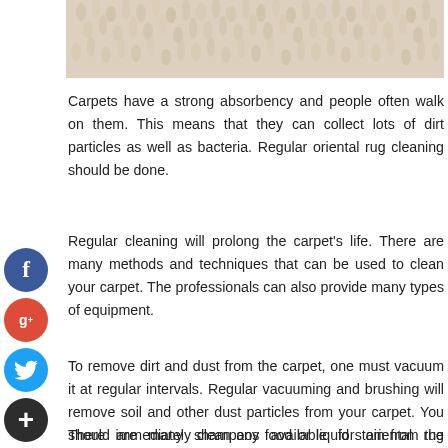[Figure (photo): Close-up photograph of a fluffy beige/cream colored carpet or rug texture]
Carpets have a strong absorbency and people often walk on them. This means that they can collect lots of dirt particles as well as bacteria. Regular oriental rug cleaning should be done.
Regular cleaning will prolong the carpet's life. There are many methods and techniques that can be used to clean your carpet. The professionals can also provide many types of equipment.
To remove dirt and dust from the carpet, one must vacuum it at regular intervals. Regular vacuuming and brushing will remove soil and other dust particles from your carpet. You should immediately clean any food or liquid stain from the carpet with a stain remover that is of the highest quality.
There are many shampoos available for oriental rug cleaning.